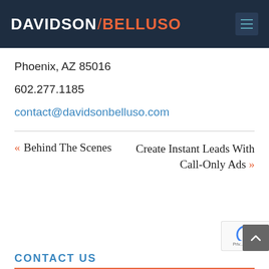DAVIDSON/BELLUSO
Phoenix, AZ 85016
602.277.1185
contact@davidsonbelluso.com
« Behind The Scenes
Create Instant Leads With Call-Only Ads »
CONTACT US